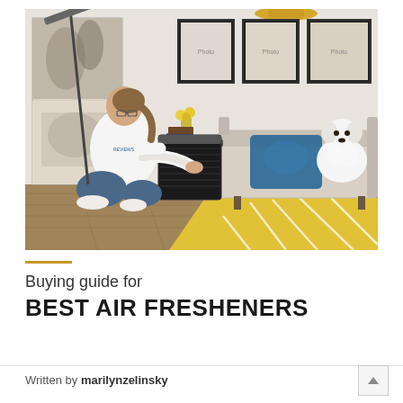[Figure (photo): A woman in a white long-sleeve shirt and jeans kneeling on a hardwood floor, adjusting a black Honeywell air purifier next to a light gray sofa with a blue pillow. A small white fluffy dog wearing a yellow bandana sits on the sofa. The background shows framed artwork and abstract wall art paintings.]
Buying guide for BEST AIR FRESHENERS
Written by marilynzelinsky